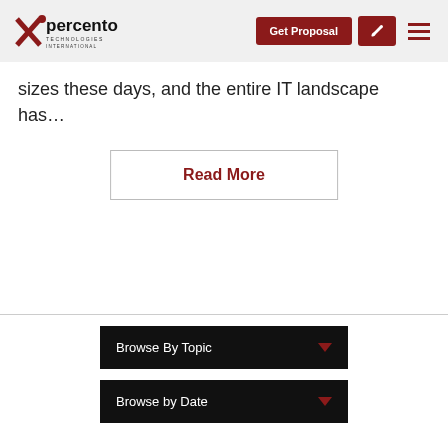Percento Technologies International — Get Proposal
sizes these days, and the entire IT landscape has…
Read More
Browse By Topic
Browse by Date